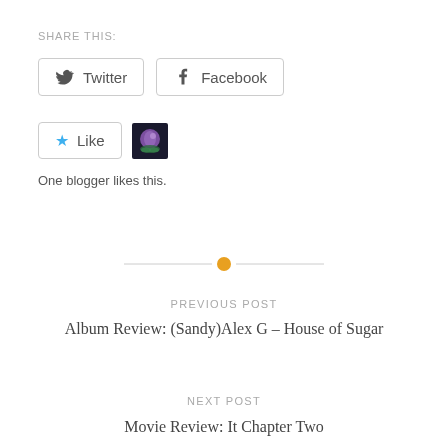SHARE THIS:
[Figure (screenshot): Twitter and Facebook share buttons]
[Figure (screenshot): Like button with star icon and avatar thumbnail]
One blogger likes this.
[Figure (other): Horizontal divider with orange circle dot in center]
PREVIOUS POST
Album Review: (Sandy)Alex G – House of Sugar
NEXT POST
Movie Review: It Chapter Two